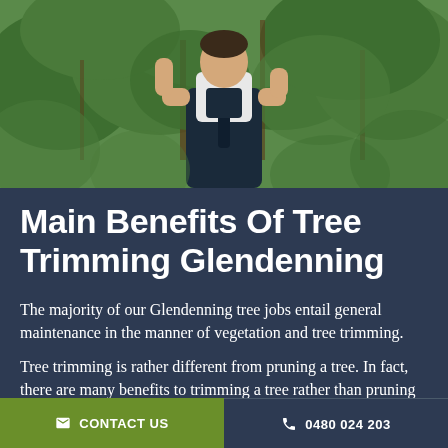[Figure (photo): Person wearing dark overalls and white shirt standing among green trees, viewed from behind]
Main Benefits Of Tree Trimming Glendenning
The majority of our Glendenning tree jobs entail general maintenance in the manner of vegetation and tree trimming.
Tree trimming is rather different from pruning a tree. In fact, there are many benefits to trimming a tree rather than pruning or cutting it.
CONTACT US   0480 024 203